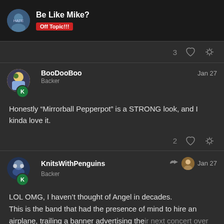Be Like Mike? Off Topic!!!
3 [heart] [link]
BooDooBoo Backer Jan 27
Honestly “Mirrorball Pepperpot” is a STRONG look, and I kinda love it.
2 [heart] [link]
KnitsWithPenguins Backer Jan 27
LOL OMG, I haven’t thought of Angel in decades.
This is the band that had the presence of mind to hire an airplane, trailing a banner advertising their next concert over the Anaheim Stadium during an all day/r
up to KISS as a finale.
18 / 21